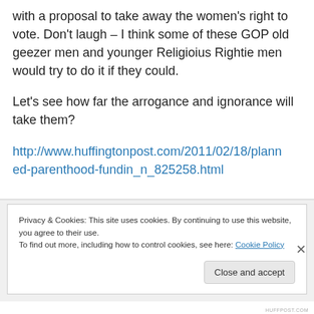with a proposal to take away the women's right to vote. Don't laugh – I think some of these GOP old geezer men and younger Religioius Rightie men would try to do it if they could.
Let's see how far the arrogance and ignorance will take them?
http://www.huffingtonpost.com/2011/02/18/planned-parenthood-fundin_n_825258.html
Privacy & Cookies: This site uses cookies. By continuing to use this website, you agree to their use.
To find out more, including how to control cookies, see here: Cookie Policy